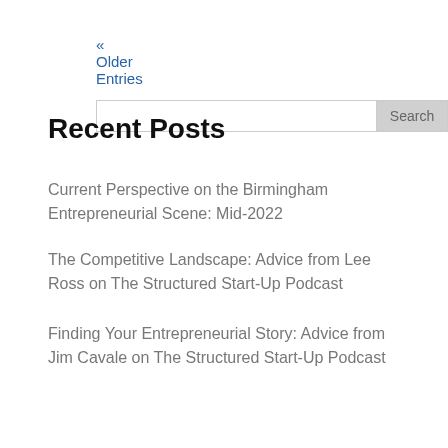« Older Entries
Search
Recent Posts
Current Perspective on the Birmingham Entrepreneurial Scene: Mid-2022
The Competitive Landscape: Advice from Lee Ross on The Structured Start-Up Podcast
Finding Your Entrepreneurial Story: Advice from Jim Cavale on The Structured Start-Up Podcast